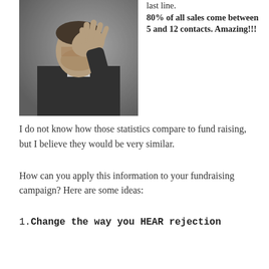[Figure (photo): Black and white photograph of a man in a dark jacket holding his hand up in front of his face, partially obscuring his view.]
last line. 80% of all sales come between 5 and 12 contacts. Amazing!!!
I do not know how those statistics compare to fund raising, but I believe they would be very similar.
How can you apply this information to your fundraising campaign? Here are some ideas:
1. Change the way you HEAR rejection